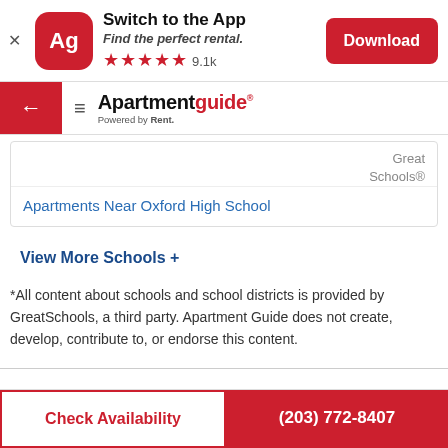[Figure (screenshot): App download banner with Ag icon, Switch to the App title, Find the perfect rental subtitle, 5 star rating with 9.1k reviews, and Download button]
[Figure (screenshot): Navigation bar with red back arrow button, hamburger menu, and Apartmentguide Powered by Rent. logo]
|  | Great Schools® |
| --- | --- |
| Apartments Near Oxford High School |  |
View More Schools +
*All content about schools and school districts is provided by GreatSchools, a third party. Apartment Guide does not create, develop, contribute to, or endorse this content.
Check Availability
(203) 772-8407